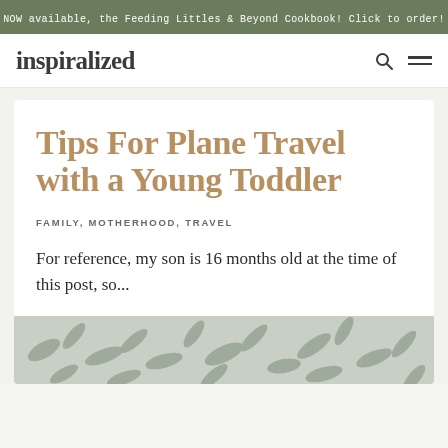NOW available, the Feeding Littles & Beyond Cookbook! Click to order!
inspiralized
Tips For Plane Travel with a Young Toddler
FAMILY, MOTHERHOOD, TRAVEL
For reference, my son is 16 months old at the time of this post, so...
[Figure (photo): Decorative leaf/palm pattern image at bottom of card]